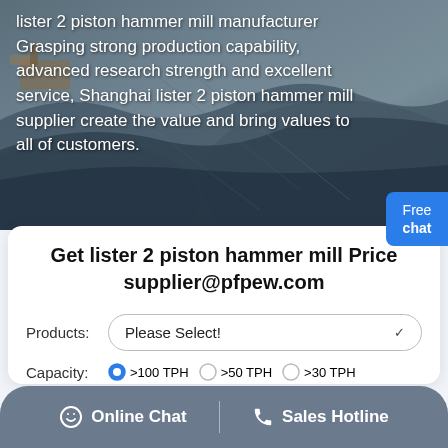[Figure (photo): Aerial view of a mining quarry or open-pit mine with rocky terrain, overlaid with white text about lister 2 piston hammer mill manufacturer.]
lister 2 piston hammer mill manufacturer Grasping strong production capability, advanced research strength and excellent service, Shanghai lister 2 piston hammer mill supplier create the value and bring values to all of customers.
Get lister 2 piston hammer mill Price supplier@pfpew.com
Products: Please Select!
Capacity: >100 TPH  >50 TPH  >30 TPH
Online Chat | Sales Hotline